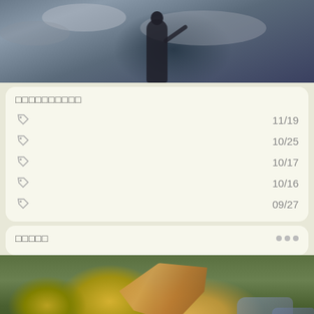[Figure (photo): A dark, stormy sky with clouds. A silhouetted figure with long hair and outstretched arm stands in the center against the dramatic sky.]
□□□□□□□□□□
🏷 11/19
🏷 10/25
🏷 10/17
🏷 10/16
🏷 09/27
□□□□□
[Figure (photo): Close-up photo of autumn leaves (dry oak leaf) on green moss-covered rocks with stone/water background.]